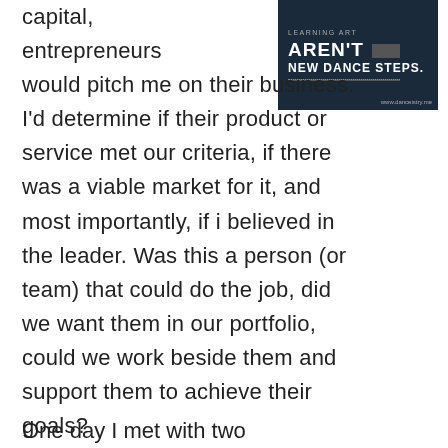[Figure (photo): Advertisement image with dark background showing bold text: AREN'T [redacted] NEW DANCE STEPS. with a website URL at the bottom right.]
capital, entrepreneurs would pitch me on their business. I'd determine if their product or service met our criteria, if there was a viable market for it, and most importantly, if i believed in the leader. Was this a person (or team) that could do the job, did we want them in our portfolio, could we work beside them and support them to achieve their goals?
One day I met with two